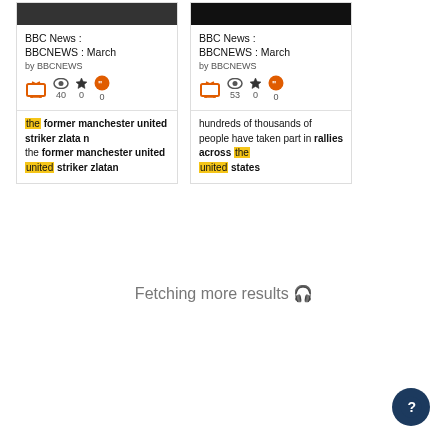[Figure (screenshot): Screenshot of two BBC News search result cards and a 'Fetching more results' message below them.]
BBC News : BBCNEWS : March by BBCNEWS — the former manchester united striker zlata n the former manchester united striker zlatan
BBC News : BBCNEWS : March by BBCNEWS — hundreds of thousands of people have taken part in rallies across the united states
Fetching more results 🔊